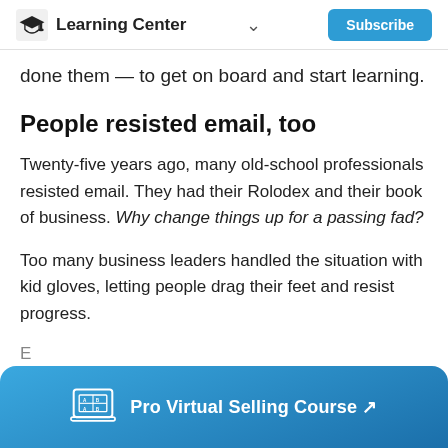Learning Center  Subscribe
done them — to get on board and start learning.
People resisted email, too
Twenty-five years ago, many old-school professionals resisted email. They had their Rolodex and their book of business. Why change things up for a passing fad?
Too many business leaders handled the situation with kid gloves, letting people drag their feet and resist progress.
[Figure (other): Bottom blue banner with laptop icon and link to Pro Virtual Selling Course]